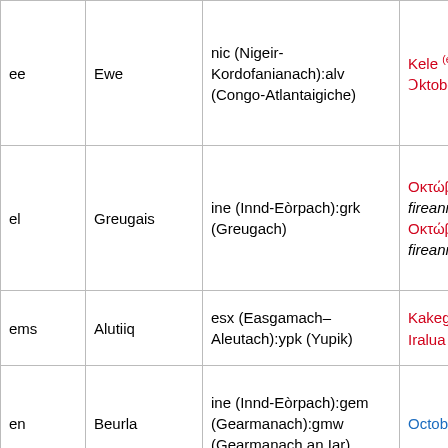| Code | Language | Family | October |
| --- | --- | --- | --- |
| ee | Ewe | nic (Nigeir-Kordofanianach):alv (Congo-Atlantaigiche) | Kele (ee) Ɔktober |
| el | Greugais | ine (Innd-Eòrpach):grk (Greugach) | Οκτώβρι fireann, Οκτώβρι fireann |
| ems | Alutiiq | esx (Easgamach–Aleutach):ypk (Yupik) | Kakegllu Iralua (en |
| en | Beurla | ine (Innd-Eòrpach):gem (Gearmanach):gmw (Gearmanach an Iar) | October |
| eo | Esperanto | art (cànain-fhuadain) | oktobro ( Oktobro |